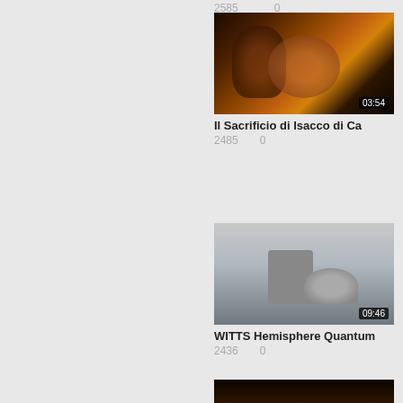2585   0
[Figure (photo): Video thumbnail showing a dark painting of figures, with warm orange/brown tones, depicting Il Sacrificio di Isacco di Ca. Duration: 03:54]
Il Sacrificio di Isacco di Ca
2485   0
[Figure (photo): Video thumbnail showing a WITTS hemisphere quantum device - a cylindrical metallic object with spherical dome and various small objects on a blue-gray surface. Duration: 09:46]
WITTS Hemisphere Quantum
2436   0
[Figure (photo): Partial video thumbnail at bottom showing a painting with a woman and child figure in warm tones against dark background]